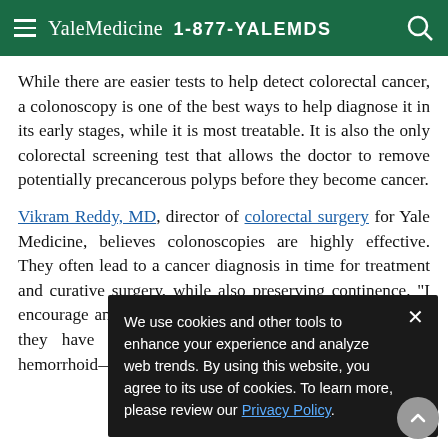Yale Medicine  1-877-YALEMDS
While there are easier tests to help detect colorectal cancer, a colonoscopy is one of the best ways to help diagnose it in its early stages, while it is most treatable. It is also the only colorectal screening test that allows the doctor to remove potentially precancerous polyps before they become cancer.
Vikram Reddy, MD, director of colorectal surgery for Yale Medicine, believes colonoscopies are highly effective. They often lead to a cancer diagnosis in time for treatment and curative surgery, while also preserving continence. "I encourage anyone has any change in their bowel habits, if they have any bleeding—even if they think it's a hemorrhoid—just get a colonoscopy," Dr. Reddy advises.
We use cookies and other tools to enhance your experience and analyze web trends. By using this website, you agree to its use of cookies. To learn more, please review our Privacy Policy.